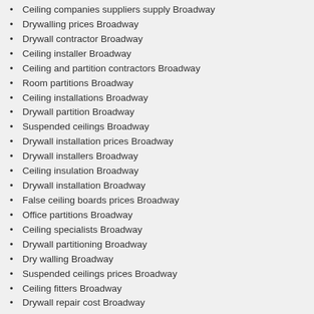Ceiling companies suppliers supply Broadway
Drywalling prices Broadway
Drywall contractor Broadway
Ceiling installer Broadway
Ceiling and partition contractors Broadway
Room partitions Broadway
Ceiling installations Broadway
Drywall partition Broadway
Suspended ceilings Broadway
Drywall installation prices Broadway
Drywall installers Broadway
Ceiling insulation Broadway
Drywall installation Broadway
False ceiling boards prices Broadway
Office partitions Broadway
Ceiling specialists Broadway
Drywall partitioning Broadway
Dry walling Broadway
Suspended ceilings prices Broadway
Ceiling fitters Broadway
Drywall repair cost Broadway
Drop ceiling installation Broadway
Ceiling boards Broadway
We are drywall partitioning experts and have been in the Industry for over 10 years, dealing with all types of business and everything in between